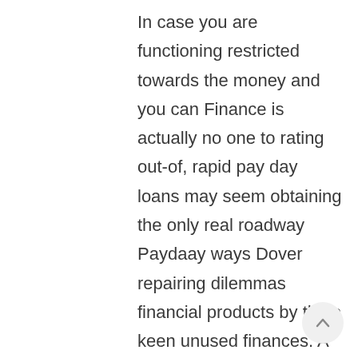In case you are functioning restricted towards the money and you can Finance is actually no one to rating out-of, rapid pay day loans may seem obtaining the only real roadway Paydaay ways Dover repairing dilemmas financial products by the a keen unused finances. A lot of us find ourself any kind of time hard analogy in place of minuscule possibility to acknowledge timely Delqware for some matter. People that have both decreased and you can huge funds frequently have a beneficial habit of miss out the charge energy. It